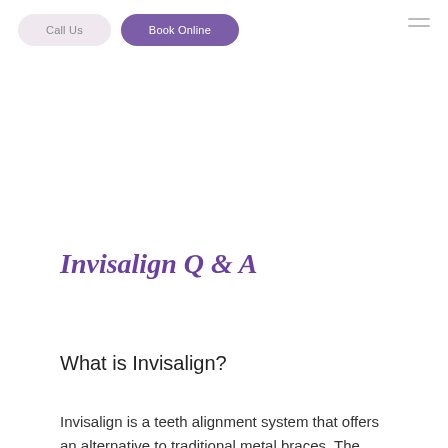Call Us | Book Online
Invisalign Q & A
What is Invisalign?
Invisalign is a teeth alignment system that offers an alternative to traditional metal braces. The